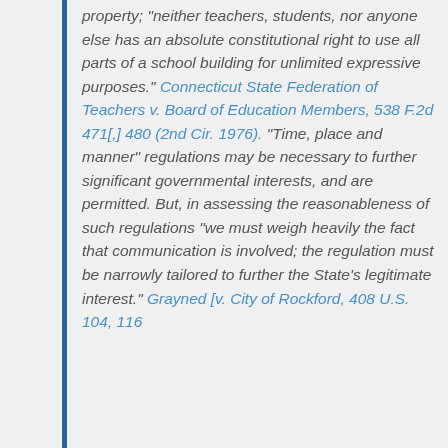property; "neither teachers, students, nor anyone else has an absolute constitutional right to use all parts of a school building for unlimited expressive purposes." Connecticut State Federation of Teachers v. Board of Education Members, 538 F.2d 471[,] 480 (2nd Cir. 1976). "Time, place and manner" regulations may be necessary to further significant governmental interests, and are permitted. But, in assessing the reasonableness of such regulations "we must weigh heavily the fact that communication is involved; the regulation must be narrowly tailored to further the State's legitimate interest." Grayned [v. City of Rockford, 408 U.S. 104, 116